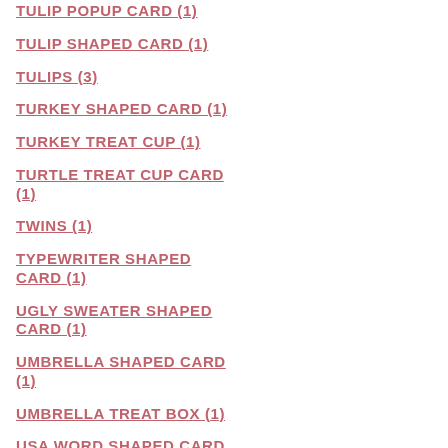TULIP POPUP CARD (1)
TULIP SHAPED CARD (1)
TULIPS (3)
TURKEY SHAPED CARD (1)
TURKEY TREAT CUP (1)
TURTLE TREAT CUP CARD (1)
TWINS (1)
TYPEWRITER SHAPED CARD (1)
UGLY SWEATER SHAPED CARD (1)
UMBRELLA SHAPED CARD (1)
UMBRELLA TREAT BOX (1)
USA WORD SHAPED CARD (1)